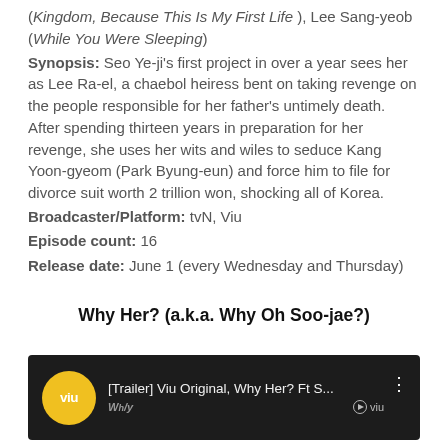(Kingdom, Because This Is My First Life), Lee Sang-yeob (While You Were Sleeping)
Synopsis: Seo Ye-ji's first project in over a year sees her as Lee Ra-el, a chaebol heiress bent on taking revenge on the people responsible for her father's untimely death. After spending thirteen years in preparation for her revenge, she uses her wits and wiles to seduce Kang Yoon-gyeom (Park Byung-eun) and force him to file for divorce suit worth 2 trillion won, shocking all of Korea.
Broadcaster/Platform: tvN, Viu
Episode count: 16
Release date: June 1 (every Wednesday and Thursday)
Why Her? (a.k.a. Why Oh Soo-jae?)
[Figure (screenshot): YouTube/Viu video thumbnail for '[Trailer] Viu Original, Why Her? Ft S...' with Viu yellow circle logo on left and Viu watermark on bottom right, dark background.]